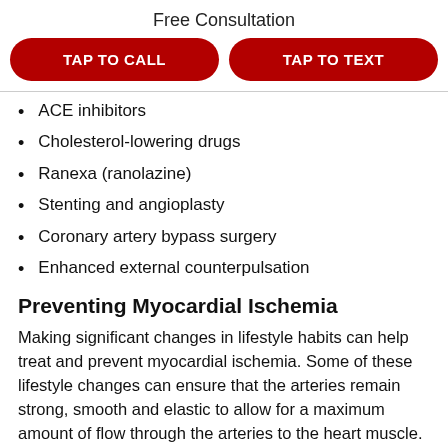Free Consultation
TAP TO CALL | TAP TO TEXT
ACE inhibitors
Cholesterol-lowering drugs
Ranexa (ranolazine)
Stenting and angioplasty
Coronary artery bypass surgery
Enhanced external counterpulsation
Preventing Myocardial Ischemia
Making significant changes in lifestyle habits can help treat and prevent myocardial ischemia. Some of these lifestyle changes can ensure that the arteries remain strong, smooth and elastic to allow for a maximum amount of flow through the arteries to the heart muscle.